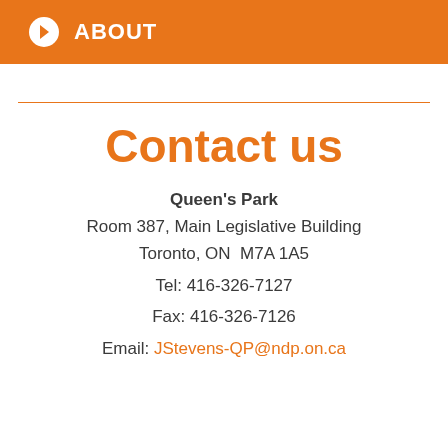ABOUT
Contact us
Queen's Park
Room 387, Main Legislative Building
Toronto, ON  M7A 1A5

Tel: 416-326-7127
Fax: 416-326-7126
Email: JStevens-QP@ndp.on.ca